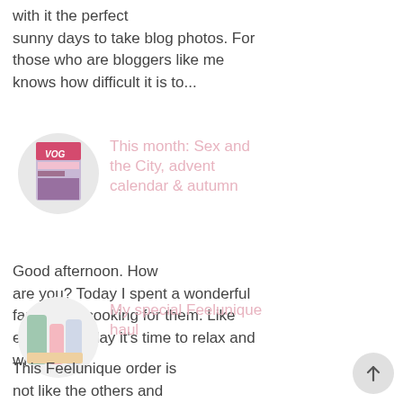with it the perfect sunny days to take blog photos. For those who are bloggers like me knows how difficult it is to...
[Figure (photo): Circular thumbnail of a magazine or book with colorful cover]
This month: Sex and the City, advent calendar & autumn
Good afternoon. How are you? Today I spent a wonderful family day cooking for them. Like every Saturday it's time to relax and write on...
[Figure (photo): Circular thumbnail of beauty/skincare products including green and pink bottles]
My special Feelunique haul
This Feelunique order is not like the others and if you follow me on Instagram you